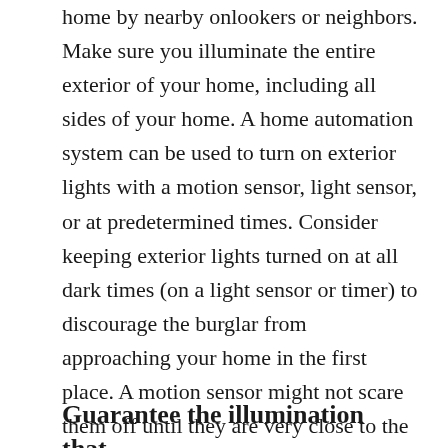home by nearby onlookers or neighbors. Make sure you illuminate the entire exterior of your home, including all sides of your home. A home automation system can be used to turn on exterior lights with a motion sensor, light sensor, or at predetermined times. Consider keeping exterior lights turned on at all dark times (on a light sensor or timer) to discourage the burglar from approaching your home in the first place. A motion sensor might not scare them off until they are very close to the house. As an alternative in order to save energy, you might consider putting dimmer or more energy efficient lights on a light sensor or timer, and also including a set of super bright flood lights on a motion sensor which will turn on if someone approaches closer.
Guarantee the illumination that...